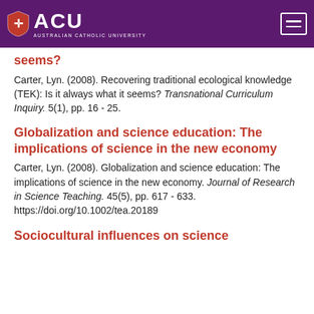ACU AUSTRALIAN CATHOLIC UNIVERSITY
seems?
Carter, Lyn. (2008). Recovering traditional ecological knowledge (TEK): Is it always what it seems? Transnational Curriculum Inquiry. 5(1), pp. 16 - 25.
Globalization and science education: The implications of science in the new economy
Carter, Lyn. (2008). Globalization and science education: The implications of science in the new economy. Journal of Research in Science Teaching. 45(5), pp. 617 - 633. https://doi.org/10.1002/tea.20189
Sociocultural influences on science